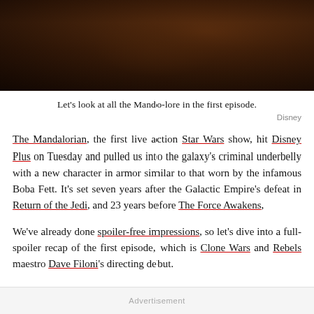[Figure (photo): Dark scene from The Mandalorian showing a figure in armor, dimly lit with brown and dark reddish tones]
Let's look at all the Mando-lore in the first episode.
Disney
The Mandalorian, the first live action Star Wars show, hit Disney Plus on Tuesday and pulled us into the galaxy's criminal underbelly with a new character in armor similar to that worn by the infamous Boba Fett. It's set seven years after the Galactic Empire's defeat in Return of the Jedi, and 23 years before The Force Awakens,
We've already done spoiler-free impressions, so let's dive into a full-spoiler recap of the first episode, which is Clone Wars and Rebels maestro Dave Filoni's directing debut.
Advertisement